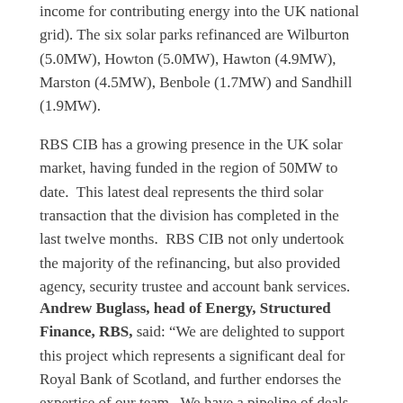income for contributing energy into the UK national grid). The six solar parks refinanced are Wilburton (5.0MW), Howton (5.0MW), Hawton (4.9MW), Marston (4.5MW), Benbole (1.7MW) and Sandhill (1.9MW).
RBS CIB has a growing presence in the UK solar market, having funded in the region of 50MW to date. This latest deal represents the third solar transaction that the division has completed in the last twelve months. RBS CIB not only undertook the majority of the refinancing, but also provided agency, security trustee and account bank services.
Andrew Buglass, head of Energy, Structured Finance, RBS, said: “We are delighted to support this project which represents a significant deal for Royal Bank of Scotland, and further endorses the expertise of our team. We have a pipeline of deals in the project finance UK solar space